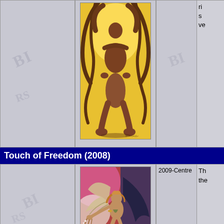[Figure (illustration): Fantasy artwork showing two figures intertwined with demonic horns/tentacles above them, painted in warm golden-brown tones against a yellow background. Signed by artist.]
ri s ve
Touch of Freedom (2008)
2009-Centre
[Figure (illustration): Fantasy artwork of a winged female figure (angel) in dynamic pose against colorful red, pink, grey and blue background, reaching forward with one arm extended.]
Th the